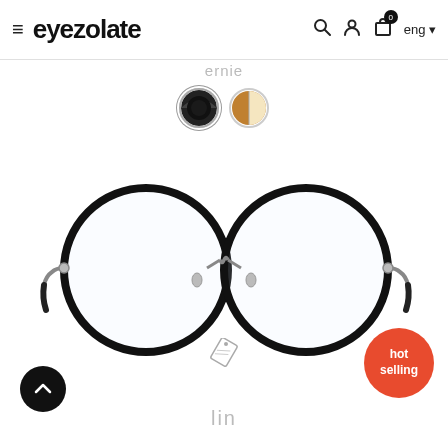eyezolate — eng
ernie
[Figure (illustration): Two circular color swatches: left is black/dark with white ring, right is brown/gold split with white ring]
[Figure (photo): Round metal-frame eyeglasses (Ernie model) with black circular rims and silver bridge and temples on white background]
[Figure (illustration): Small price tag icon]
hot selling
[Figure (illustration): Scroll up button — black circle with white up chevron]
lin